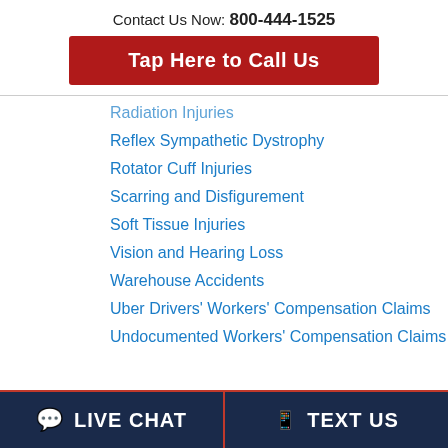Contact Us Now: 800-444-1525
Tap Here to Call Us
Radiation Injuries
Reflex Sympathetic Dystrophy
Rotator Cuff Injuries
Scarring and Disfigurement
Soft Tissue Injuries
Vision and Hearing Loss
Warehouse Accidents
Uber Drivers' Workers' Compensation Claims
Undocumented Workers' Compensation Claims
LIVE CHAT   TEXT US